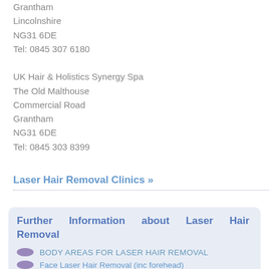Grantham
Lincolnshire
NG31 6DE
Tel: 0845 307 6180
UK Hair & Holistics Synergy Spa
The Old Malthouse
Commercial Road
Grantham
NG31 6DE
Tel: 0845 303 8399
Laser Hair Removal Clinics »
Further Information about Laser Hair Removal
BODY AREAS FOR LASER HAIR REMOVAL
Face Laser Hair Removal (inc forehead)